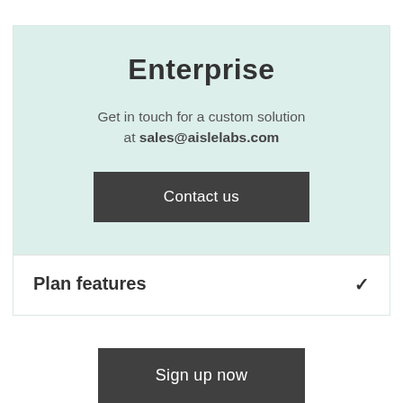Enterprise
Get in touch for a custom solution at sales@aislelabs.com
Contact us
Plan features
Sign up now